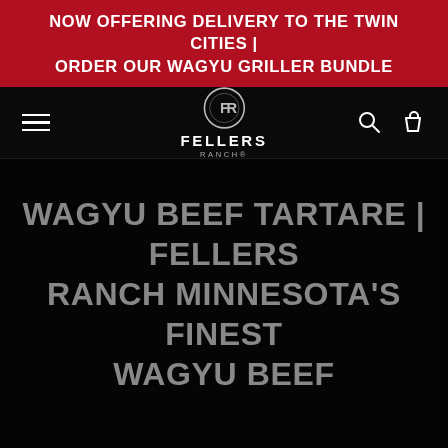NOW OFFERING DELIVERY TO THE TWIN CITIES | ORDER OUR WAGYU GRILLER BUNDLE
[Figure (logo): Fellers Ranch logo with circle FR monogram, bold FELLERS RANCH text]
WAGYU BEEF TARTARE | FELLERS RANCH MINNESOTA'S FINEST WAGYU BEEF